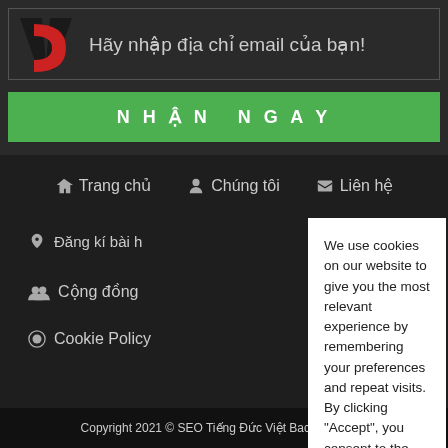Hãy nhập địa chỉ email của bạn!
[Figure (logo): Logo with V and D letters, black and red]
NHẬN NGAY
🏠 Trang chủ   🎓 Chúng tôi   📋 Liên hệ
🔔 Đăng kí bài học  Nhóc Đất
👥 Cộng đồng
🌐 Cookie Policy
We use cookies on our website to give you the most relevant experience by remembering your preferences and repeat visits. By clicking "Accept", you consent to the use of ALL the cookies.
Do not sell my personal information.
Cookie Settings
Accept
Copyright 2021 © SEO Tiếng Đức Việt BachAll Rights